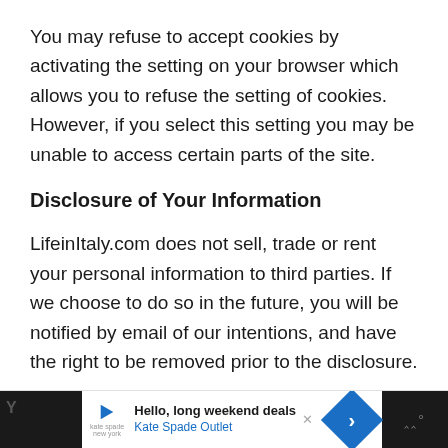You may refuse to accept cookies by activating the setting on your browser which allows you to refuse the setting of cookies. However, if you select this setting you may be unable to access certain parts of the site.
Disclosure of Your Information
LifeinItaly.com does not sell, trade or rent your personal information to third parties. If we choose to do so in the future, you will be notified by email of our intentions, and have the right to be removed prior to the disclosure.
[Figure (other): Advertisement banner for Kate Spade Outlet with 'Hello, long weekend deals' headline, play button logo, blue navigation icon, and dark side panels.]